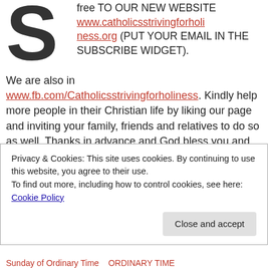free TO OUR NEW WEBSITE www.catholicsstrivingforholiness.org (PUT YOUR EMAIL IN THE SUBSCRIBE WIDGET).
We are also in www.fb.com/Catholicsstrivingforholiness. Kindly help more people in their Christian life by liking our page and inviting your family, friends and relatives to do so as well. Thanks in advance and God bless you and your loved ones! Fr. Rolly Arjonillo
Related
Privacy & Cookies: This site uses cookies. By continuing to use this website, you agree to their use. To find out more, including how to control cookies, see here: Cookie Policy
Close and accept
Sunday of Ordinary Time   ORDINARY TIME